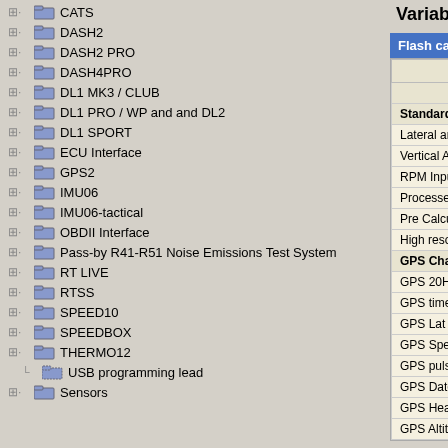CATS
DASH2
DASH2 PRO
DASH4PRO
DL1 MK3 / CLUB
DL1 PRO / WP and and DL2
DL1 SPORT
ECU Interface
GPS2
IMU06
IMU06-tactical
OBDII Interface
Pass-by R41-R51 Noise Emissions Test System
RT LIVE
RTSS
SPEED10
SPEEDBOX
THERMO12
USB programming lead
Sensors
Variable storage
Flash card storage
| Variable | Da |
| --- | --- |
| Standard Channels |  |
| Lateral and Longitu |  |
| Vertical Accelerati |  |
| RPM Input |  |
| Processed GPS S |  |
| Pre Calculated Dis |  |
| High resolution eve |  |
| GPS Channels |  |
| GPS 20Hz data |  |
| GPS time of week |  |
| GPS Lat - Long & |  |
| GPS Speed & Sp |  |
| GPS pulse present |  |
| GPS Date and tim |  |
| GPS Heading & H |  |
| GPS Altitude & Alt |  |